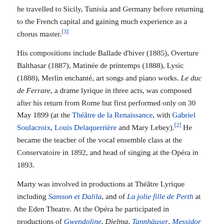he travelled to Sicily, Tunisia and Germany before returning to the French capital and gaining much experience as a chorus master.[3]
His compositions include Ballade d'hiver (1885), Overture Balthasar (1887), Matinée de printemps (1888), Lysic (1888), Merlin enchanté, art songs and piano works. Le duc de Ferrare, a drame lyrique in three acts, was composed after his return from Rome but first performed only on 30 May 1899 (at the Théâtre de la Renaissance, with Gabriel Soulacroix, Louis Delaquerrière and Mary Lebey).[2] He became the teacher of the vocal ensemble class at the Conservatoire in 1892, and head of singing at the Opéra in 1893.
Marty was involved in productions at Théâtre Lyrique including Samson et Dalila, and of La jolie fille de Perth at the Eden Theatre. At the Opéra he participated in productions of Gwendoline, Djelma, Tannhäuser, Messidor and Die Meistersinger von Nürnberg. When the Paris Opéra concerts were created he conducted modern orchestral works.
He made his debut at the Opéra Comique was conducting Manon on 11 March 1900; he then conducted the first ever production at